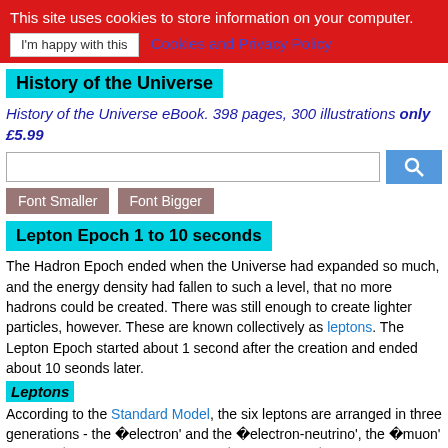This site uses cookies to store information on your computer. I'm happy with this   Cookies and Privacy Policy
History of the Universe
History of the Universe eBook. 398 pages, 300 illustrations only £5.99
Lepton Epoch 1 to 10 seconds
The Hadron Epoch ended when the Universe had expanded so much, and the energy density had fallen to such a level, that no more hadrons could be created. There was still enough to create lighter particles, however. These are known collectively as leptons. The Lepton Epoch started about 1 second after the creation and ended about 10 seonds later.
Leptons
According to the Standard Model, the six leptons are arranged in three generations - the �electron' and the �electron-neutrino', the �muon' and the �muon-neutrino', and the �tau' and the �tau-neutrino'. The electron, the muon and the tau all have an electric